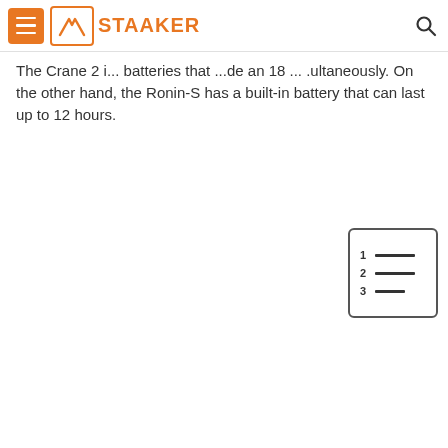Staaker website header with hamburger menu, Staaker logo, and search icon
The Crane 2 i... batteries that ...de an 18 ... .ultaneously. On the other hand, the Ronin-S has a built-in battery that can last up to 12 hours.
[Figure (other): Table of contents widget icon with numbered list (1, 2, 3) and horizontal lines]